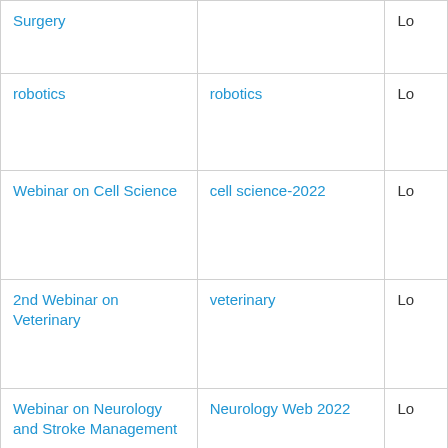| Surgery |  | Lo |
| robotics | robotics | Lo |
| Webinar on Cell Science | cell science-2022 | Lo |
| 2nd Webinar on Veterinary | veterinary | Lo |
| Webinar on Neurology and Stroke Management | Neurology Web 2022 | Lo |
| Webinar on Emergency Medicine and Primary Care | Emergency Primary Care 2022 | Lo |